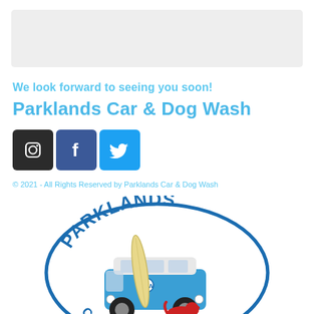[Figure (other): Gray banner/header image area at top of page]
We look forward to seeing you soon!
Parklands Car & Dog Wash
[Figure (infographic): Social media icons: Instagram (dark), Facebook (blue), Twitter (light blue)]
© 2021 - All Rights Reserved by Parklands Car & Dog Wash
[Figure (logo): Parklands Car & Dog Wash logo: oval shape with 'PARKLANDS' text at top, blue VW camper van with surfboard and red dog]